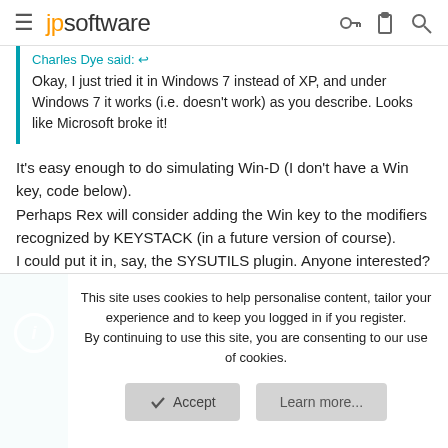jpsoftware
Charles Dye said: ↩
Okay, I just tried it in Windows 7 instead of XP, and under Windows 7 it works (i.e. doesn't work) as you describe. Looks like Microsoft broke it!
It's easy enough to do simulating Win-D (I don't have a Win key, code below).
Perhaps Rex will consider adding the Win key to the modifiers recognized by KEYSTACK (in a future version of course).
I could put it in, say, the SYSUTILS plugin. Anyone interested?
This site uses cookies to help personalise content, tailor your experience and to keep you logged in if you register.
By continuing to use this site, you are consenting to our use of cookies.